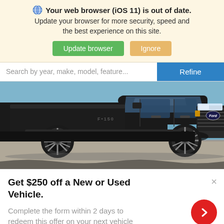Your web browser (iOS 11) is out of date. Update your browser for more security, speed and the best experience on this site. [Update browser] [Ignore]
Search by year, make, model, feature...   Refine
[Figure (photo): Black Ford F-150 pickup truck, side/front view, parked outdoors with blue sky and water in background]
Get $250 off a New or Used Vehicle.

Complete the form within 2 days to redeem this offer on your next vehicle